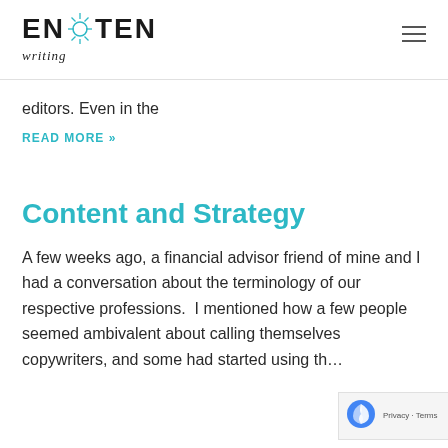ENLIGHTEN writing
editors. Even in the
READ MORE »
Content and Strategy
A few weeks ago, a financial advisor friend of mine and I had a conversation about the terminology of our respective professions.  I mentioned how a few people seemed ambivalent about calling themselves copywriters, and some had started using th…